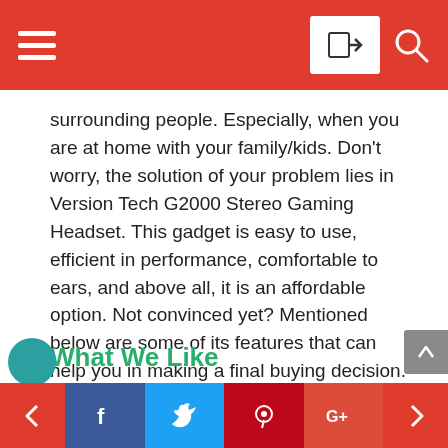[Navigation bar with hamburger menu, login button, and search icon]
surrounding people. Especially, when you are at home with your family/kids. Don't worry, the solution of your problem lies in Version Tech G2000 Stereo Gaming Headset. This gadget is easy to use, efficient in performance, comfortable to ears, and above all, it is an affordable option. Not convinced yet? Mentioned below are some of its features that can help you in making a final buying decision.
What We Like
Design
Version Tech G2000 comes equipped with skin-friendly leathered... boasts of an adjustable head... appropriate for all
[Social share bar: Facebook, Twitter, Pinterest, Google+; Previous and Next navigation buttons]